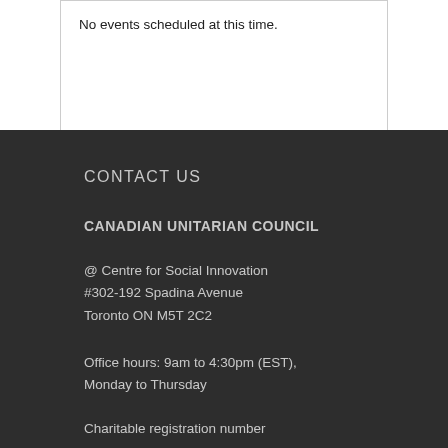No events scheduled at this time.
CONTACT US
CANADIAN UNITARIAN COUNCIL
@ Centre for Social Innovation
#302-192 Spadina Avenue
Toronto ON M5T 2C2
Office hours: 9am to 4:30pm (EST), Monday to Thursday
Charitable registration number